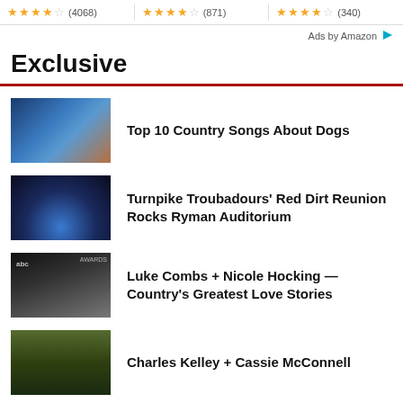[Figure (other): Three star rating boxes: 4 stars (4068), 4 stars (871), 4 stars (340)]
Ads by Amazon
Exclusive
[Figure (photo): Three country music performers on stage (for Top 10 Country Songs About Dogs article)]
Top 10 Country Songs About Dogs
[Figure (photo): Concert stage with blue lighting (Turnpike Troubadours article)]
Turnpike Troubadours' Red Dirt Reunion Rocks Ryman Auditorium
[Figure (photo): Luke Combs and Nicole Hocking at awards show (abc logo visible)]
Luke Combs + Nicole Hocking — Country's Greatest Love Stories
[Figure (photo): Charles Kelley and Cassie McConnell outdoors]
Charles Kelley + Cassie McConnell